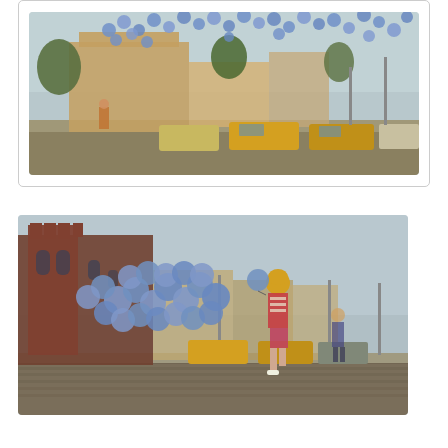[Figure (photo): Vintage color photograph showing a street scene with blue balloons floating in the air above parked cars and trees. A brick building is visible in the background. Sky is hazy/overcast. Cars appear to be from the 1970s.]
[Figure (photo): Vintage color photograph showing a July 4th parade float scene. A person wearing a yellow hat and striped shirt walks in the foreground on a brick-paved street. Many blue balloons are clustered together behind them. Old brick buildings including Old St. John Lutheran Church are visible in the background. Cars from the 1970s line the street.]
According to the author, Mike Sylwester, these photos were taken on July 4, 1975, and originally had a caption: "Marxhausen Seward Fourth of July Parade float. Old St. John Lutheran Church in the background." Sylwester explains that the second picture "shows the front of the float being held by Karl Marxhausen (in the foreground) and Reinhold Marxhausen (in the background). The back of the float was held by Paul and Dorris Marxhausen